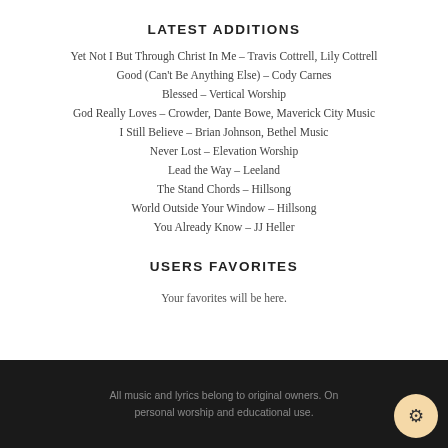LATEST ADDITIONS
Yet Not I But Through Christ In Me – Travis Cottrell, Lily Cottrell
Good (Can't Be Anything Else) – Cody Carnes
Blessed – Vertical Worship
God Really Loves – Crowder, Dante Bowe, Maverick City Music
I Still Believe – Brian Johnson, Bethel Music
Never Lost – Elevation Worship
Lead the Way – Leeland
The Stand Chords – Hillsong
World Outside Your Window – Hillsong
You Already Know – JJ Heller
USERS FAVORITES
Your favorites will be here.
All music and lyrics belong to original owners. Only for personal worship and educational use.